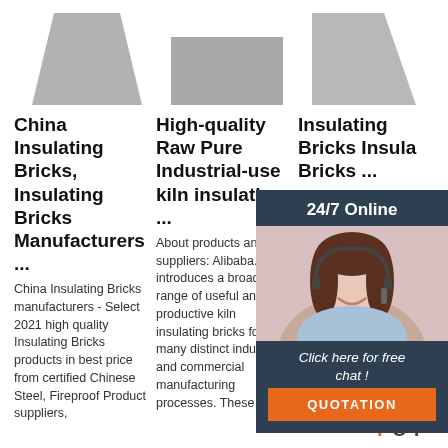[Figure (photo): Three insulating brick product images shown across the top of the page]
China Insulating Bricks, Insulating Bricks Manufacturers ...
China Insulating Bricks manufacturers - Select 2021 high quality Insulating Bricks products in best price from certified Chinese Steel, Fireproof Product suppliers,
High-quality Raw Pure Industrial-use kiln insulating ...
About products and suppliers: Alibaba.com introduces a broad range of useful and productive kiln insulating bricks for many distinct industrial and commercial manufacturing processes. These
Insulating Bricks Insulating Bricks ...
Insulating Factory 2021 high Insulating Factory in best certified Chinese Refractory Insulating Brick manufacturers, Heat Insulating Brick suppliers,
[Figure (infographic): 24/7 Online chat widget overlay with a customer service representative photo, 'Click here for free chat!' text, and orange QUOTATION button. Includes TOP logo in bottom right.]